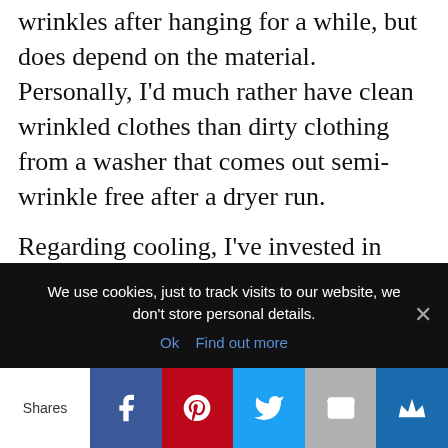wrinkles after hanging for a while, but does depend on the material. Personally, I'd much rather have clean wrinkled clothes than dirty clothing from a washer that comes out semi-wrinkle free after a dryer run. Regarding cooling, I've invested in some small solar rechargeable power banks and some 12 VDC powered personal swamp coolers. One will run most all day long on one power bank. On really warm
We use cookies, just to track visits to our website, we don't store personal details.
Ok  Find out more
Shares | Facebook | Pinterest | Twitter | Email | Crown